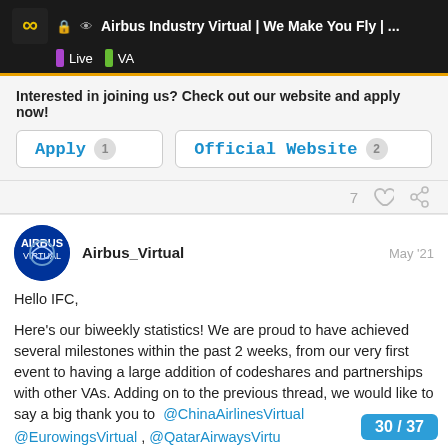Airbus Industry Virtual | We Make You Fly | ...  Live  VA
Interested in joining us? Check out our website and apply now!
Apply 1   Official Website 2
7 ♡ 🔗
Airbus_Virtual   May '21
Hello IFC,
Here's our biweekly statistics! We are proud to have achieved several milestones within the past 2 weeks, from our very first event to having a large addition of codeshares and partnerships with other VAs. Adding on to the previous thread, we would like to say a big thank you to @ChinaAirlinesVirtual @EurowingsVirtual , @QatarAirwaysVirtu... @Etihad_Virtual , @SaudiaVirtual , and @...
30 / 37